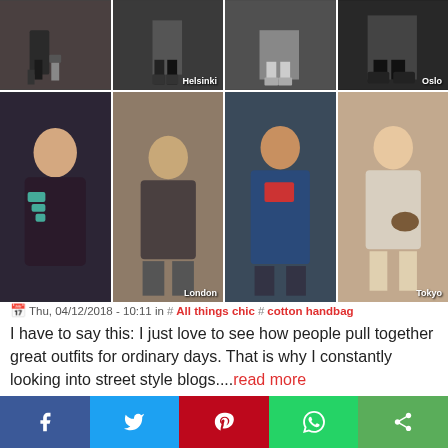[Figure (photo): Collage of street style fashion photos from Helsinki, London, Oslo, and Tokyo showing people in various outfits]
Thu, 04/12/2018 - 10:11 in #All things chic #cotton handbag
I have to say this: I just love to see how people pull together great outfits for ordinary days. That is why I constantly looking into street style blogs....read more
Spring Trends: Romantic Mood
[Figure (photo): Three fashion photos showing spring romantic mood outfits with light colored clothing]
Social share buttons: Facebook, Twitter, Pinterest, WhatsApp, Share